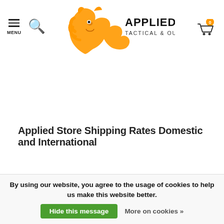[Figure (logo): Applied Store Tactical & Outdoor Gear logo with orange lion head and bold black text]
Applied Store Shipping Rates Domestic and International
the Netherlands orders above 50 euro    Free
Belgium order above 120 euro    Free
By using our website, you agree to the usage of cookies to help us make this website better. Hide this message  More on cookies »